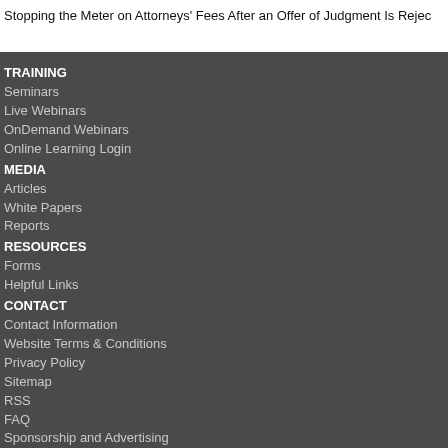Stopping the Meter on Attorneys' Fees After an Offer of Judgment Is Rejec…
TRAINING
Seminars
Live Webinars
OnDemand Webinars
Online Learning Login
MEDIA
Articles
White Papers
Reports
RESOURCES
Forms
Helpful Links
CONTACT
Contact Information
Website Terms & Conditions
Privacy Policy
Sitemap
RSS
FAQ
Sponsorship and Advertising
© 2022 TheParalegalResource.com, owned and operated by Lorman Busines…